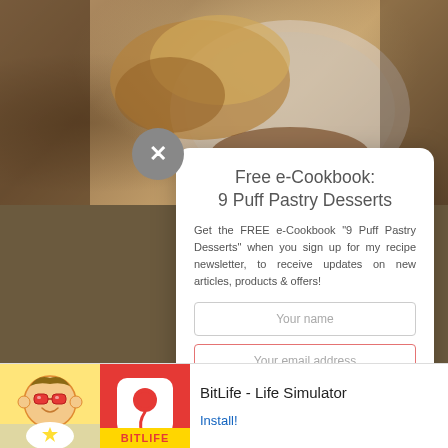[Figure (photo): Background food photography showing pastries/baked goods, with blurred food images top and bottom]
Free e-Cookbook:
9 Puff Pastry Desserts
Get the FREE e-Cookbook "9 Puff Pastry Desserts" when you sign up for my recipe newsletter, to receive updates on new articles, products & offers!
Your name
Your email address
Subscribe!
[Figure (screenshot): Ad banner for BitLife - Life Simulator app, showing mascot cartoon, app icon with red background, app name and Install button]